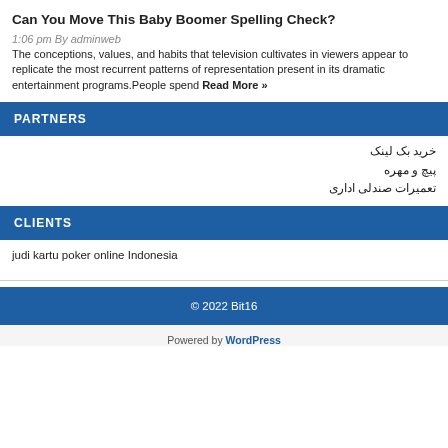Can You Move This Baby Boomer Spelling Check?
1:06 pm By adminweb
The conceptions, values, and habits that television cultivates in viewers appear to replicate the most recurrent patterns of representation present in its dramatic entertainment programs.People spend Read More »
PARTNERS
خرید بک لینک
پیچ و مهره
تعمیرات صندلی اداری
CLIENTS
judi kartu poker online Indonesia
© 2022 Bit16
Powered by WordPress